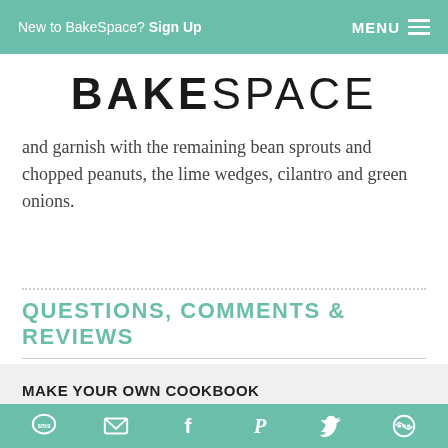New to BakeSpace? Sign Up  MENU
[Figure (logo): BAKESPACE logo in large bold and light weight letters]
and garnish with the remaining bean sprouts and chopped peanuts, the lime wedges, cilantro and green onions.
QUESTIONS, COMMENTS & REVIEWS
MAKE YOUR OWN COOKBOOK
Preserve (and even sell) your recipes. Great for
SMS  Email  Facebook  Pinterest  Twitter  Share